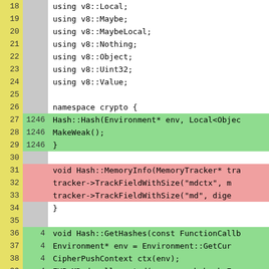[Figure (screenshot): Code coverage diff view showing C++ source code with line numbers, coverage counts, and color-coded lines (green for covered, pink for uncovered, white/gray for neutral).]